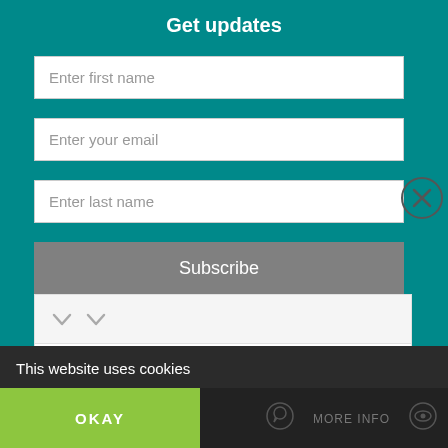Get updates
Enter first name
Enter your email
Enter last name
Subscribe
[Figure (screenshot): Close (X) button circle on teal background]
[Figure (screenshot): Down arrow icons row inside white card]
View more on Twitter
Learn more about privacy on Twitter
This website uses cookies
OKAY
[Figure (screenshot): WhatsApp icon]
MORE INFO
[Figure (screenshot): Eye icon]